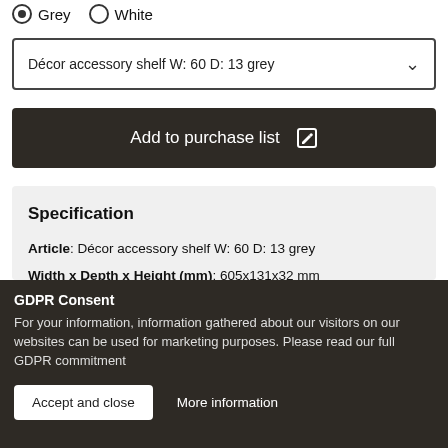Grey (selected)  White
Décor accessory shelf W: 60 D: 13 grey
Add to purchase list
Specification
Article: Décor accessory shelf W: 60 D: 13 grey
Width x Depth x Height (mm): 605x131x32 mm
Article number : 607420
GDPR Consent
For your information, information gathered about our visitors on our websites can be used for marketing purposes. Please read our full GDPR commitment
Accept and close
More information